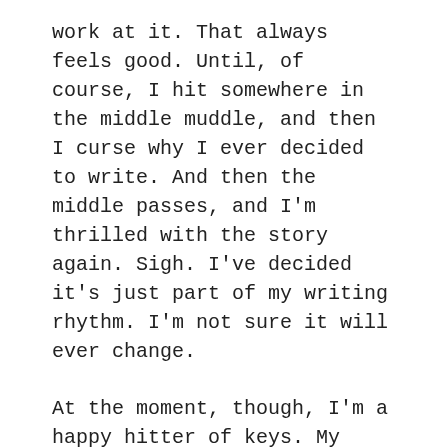work at it. That always feels good. Until, of course, I hit somewhere in the middle muddle, and then I curse why I ever decided to write. And then the middle passes, and I'm thrilled with the story again. Sigh. I've decided it's just part of my writing rhythm. I'm not sure it will ever change.
At the moment, though, I'm a happy hitter of keys. My plot points are working and adding surprises I didn't see coming. Everything's on track, except for my usual worries. Is the pacing right? Does the balance work? I can never tell. That's why I need my critique partners. If one of them writes "What is this in here for?," I know I need to fiddle with my story more. But I have a while before I show it to them, so right now, at this moment, I feel good about my writing. And